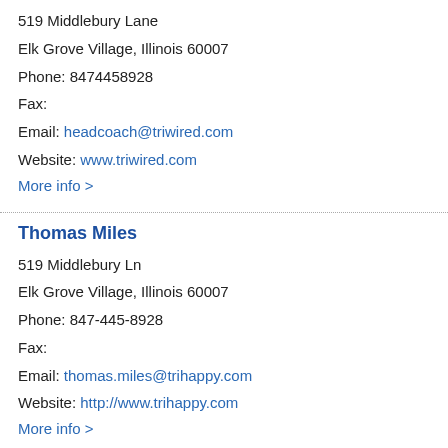519 Middlebury Lane
Elk Grove Village, Illinois 60007
Phone: 8474458928
Fax:
Email: headcoach@triwired.com
Website: www.triwired.com
More info >
Thomas Miles
519 Middlebury Ln
Elk Grove Village, Illinois 60007
Phone: 847-445-8928
Fax:
Email: thomas.miles@trihappy.com
Website: http://www.trihappy.com
More info >
Tom Rice